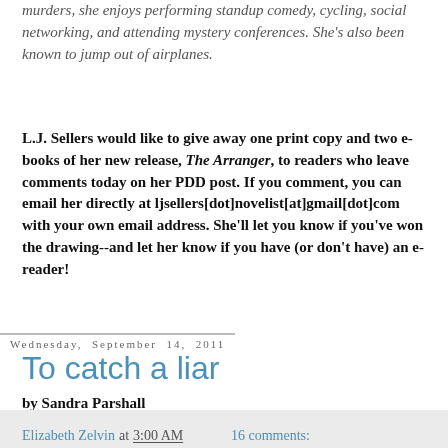murders, she enjoys performing standup comedy, cycling, social networking, and attending mystery conferences. She's also been known to jump out of airplanes.
L.J. Sellers would like to give away one print copy and two e-books of her new release, The Arranger, to readers who leave comments today on her PDD post. If you comment, you can email her directly at ljsellers[dot]novelist[at]gmail[dot]com with your own email address. She'll let you know if you've won the drawing--and let her know if you have (or don't have) an e-reader!
Elizabeth Zelvin at 3:00 AM   16 comments:
Wednesday, September 14, 2011
To catch a liar
by Sandra Parshall
Do you think you're pretty good at spotting when somebody's